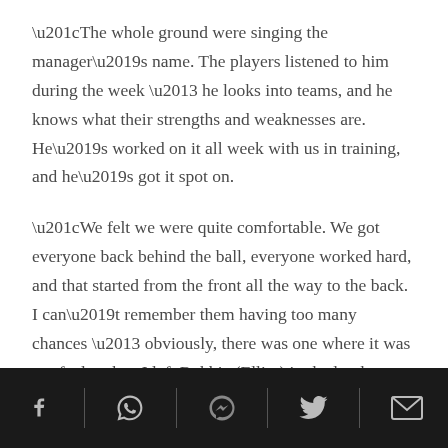“The whole ground were singing the manager’s name. The players listened to him during the week – he looks into teams, and he knows what their strengths and weaknesses are. He’s worked on it all week with us in training, and he’s got it spot on.
“We felt we were quite comfortable. We got everyone back behind the ball, everyone worked hard, and that started from the front all the way to the back. I can’t remember them having too many chances – obviously, there was one where it was my fault, when I left Robbie (Elliot) in the lurch a little bit, but he managed to pull off a good save. Apart from that, there weren’t too
[social share icons: Facebook, WhatsApp, Messenger, Twitter, Email]